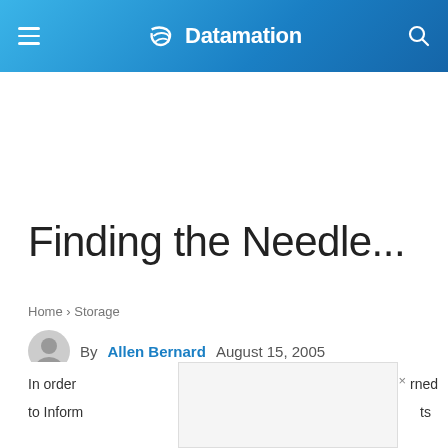Datamation
Finding the Needle...
Home › Storage
By Allen Bernard   August 15, 2005
In order  rned to Inform  ts